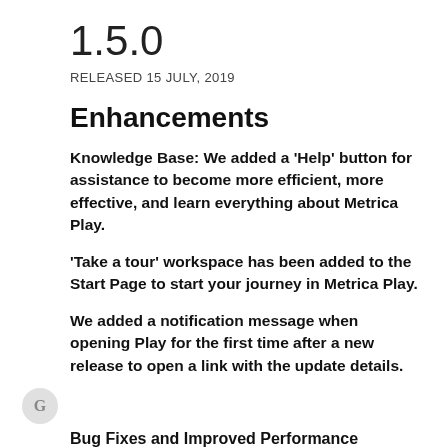1.5.0
RELEASED 15 JULY, 2019
Enhancements
Knowledge Base: We added a 'Help' button for assistance to become more efficient, more effective, and learn everything about Metrica Play.
'Take a tour' workspace has been added to the Start Page to start your journey in Metrica Play.
We added a notification message when opening Play for the first time after a new release to open a link with the update details.
Bug Fixes and Improved Performance